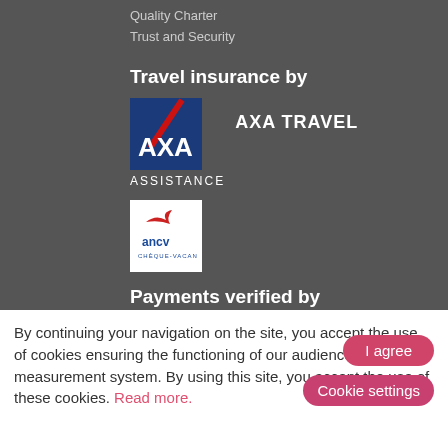Quality Charter
Trust and Security
Travel insurance by
[Figure (logo): AXA logo — blue square with white AXA letters and red diagonal stripe]
AXA TRAVEL ASSISTANCE
[Figure (logo): ANCV Chèque-Vacances logo — white background with red bird and blue ancv text]
Payments verified by
By continuing your navigation on the site, you accept the use of cookies ensuring the functioning of our audience measurement system. By using this site, you accept the use of these cookies. Read more.
I agree
Cookie settings